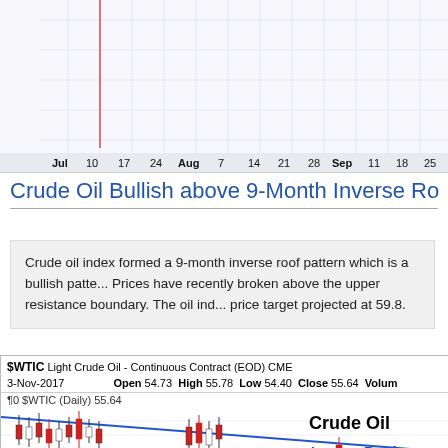[Figure (continuous-plot): Top portion of a financial time series chart showing x-axis date labels from Jul through Oct (Jul, 10, 17, 24, Aug, 7, 14, 21, 28, Sep, 11, 18, 25, Oct) with a red vertical spike line visible, on a white grid background.]
Crude Oil Bullish above 9-Month Inverse Ro
Crude oil index formed a 9-month inverse roof pattern which is a bullish patte... Prices have recently broken above the upper resistance boundary. The oil ind... price target projected at 59.8.
[Figure (continuous-plot): Candlestick chart for $WTIC Light Crude Oil - Continuous Contract (EOD) CME, dated 3-Nov-2017, with OHLC values Open 54.73 High 55.78 Low 54.40 Close 55.64, Volume shown. Chart shows red and black candlesticks with a descending blue trendline. Labels 'Crude Oil' and 'Inverse Roof' visible on right side.]